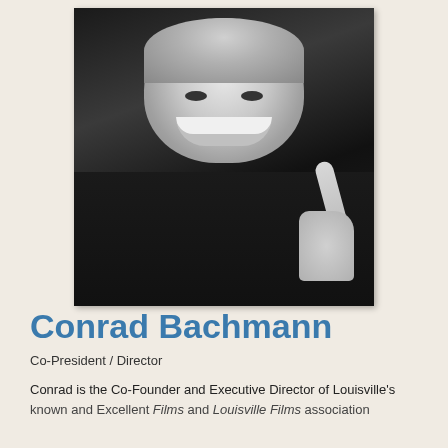[Figure (photo): Black and white portrait photo of Conrad Bachmann, a smiling older man in a dark sweater pointing one finger upward]
Conrad Bachmann
Co-President / Director
Conrad is the Co-Founder and Executive Director of Louisville's